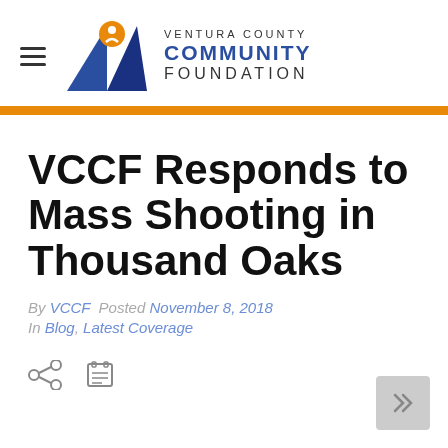[Figure (logo): Ventura County Community Foundation logo with blue geometric bird/person icon and orange circle]
VENTURA COUNTY COMMUNITY FOUNDATION
VCCF Responds to Mass Shooting in Thousand Oaks
By VCCF  Posted November 8, 2018
In Blog, Latest Coverage